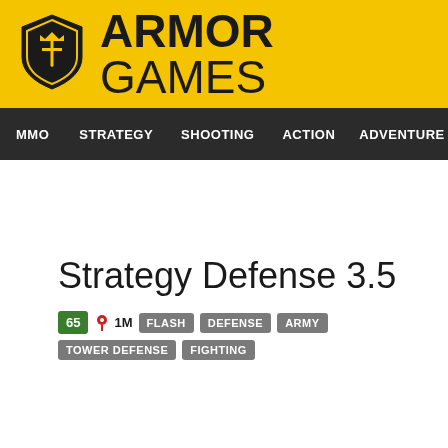ARMOR GAMES
MMO STRATEGY SHOOTING ACTION ADVENTURE P
Strategy Defense 3.5
65 1M FLASH DEFENSE ARMY TOWER DEFENSE FIGHTING